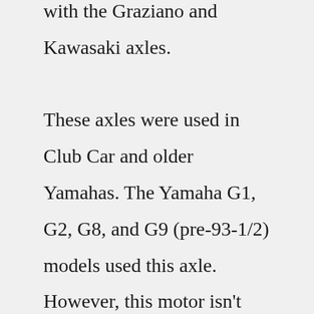with the Graziano and Kawasaki axles. These axles were used in Club Car and older Yamahas. The Yamaha G1, G2, G8, and G9 (pre-93-1/2) models used this axle. However, this motor isn't neccessarily for ... Remove all four mounting screws on both sides, which attach your old golf cart battery (or gas tank) to the vehicle's frame. Repeat this step for the other side too. Now, you can disconnect any wiring harnesses or hoses that are still connected to your old